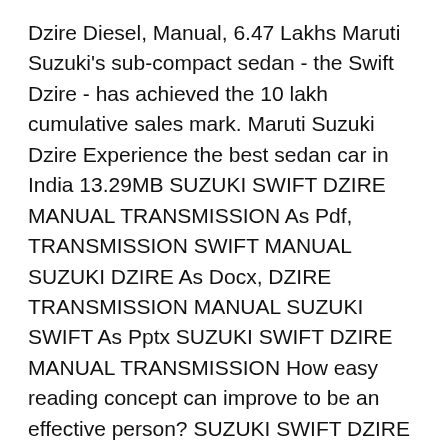Dzire Diesel, Manual, 6.47 Lakhs Maruti Suzuki's sub-compact sedan - the Swift Dzire - has achieved the 10 lakh cumulative sales mark. Maruti Suzuki Dzire Experience the best sedan car in India 13.29MB SUZUKI SWIFT DZIRE MANUAL TRANSMISSION As Pdf, TRANSMISSION SWIFT MANUAL SUZUKI DZIRE As Docx, DZIRE TRANSMISSION MANUAL SUZUKI SWIFT As Pptx SUZUKI SWIFT DZIRE MANUAL TRANSMISSION How easy reading concept can improve to be an effective person? SUZUKI SWIFT DZIRE MANUAL TRANSMISSION review is a very simple task. Yet, how many people can
Swift Dzire Vdi User Manual Pdf you try on